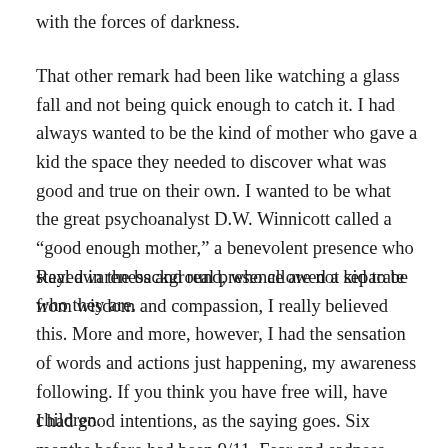with the forces of darkness.
That other remark had been like watching a glass fall and not being quick enough to catch it. I had always wanted to be the kind of mother who gave a kid the space they needed to discover what was good and true on their own. I wanted to be what the great psychoanalyst D.W. Winnicott called a “good enough mother,” a benevolent presence who stayed in the background, who allowed a kid to be who they are.
Real awareness and real presence are not separate from wisdom and compassion, I really believed this. More and more, however, I had the sensation of words and actions just happening, my awareness following. If you think you have free will, have children.
I had good intentions, as the saying goes. Six months before had been 9/11. Fear and sadness rolled over New York like fog